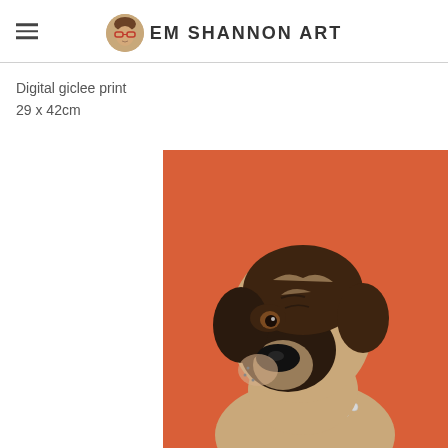EM SHANNON ART
Digital giclee print
29 x 42cm
[Figure (illustration): Digital giclee print artwork showing a Boxer dog with brindle coat wearing a pearl necklace, painted against a bold orange-red background. The dog gazes upward with a noble, regal expression. Style is realistic painterly illustration.]